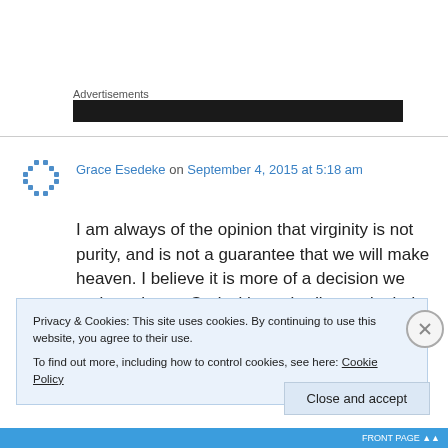Advertisements
[Figure (other): Dark advertisement banner]
Grace Esedeke on September 4, 2015 at 5:18 am
I am always of the opinion that virginity is not purity, and is not a guarantee that we will make heaven. I believe it is more of a decision we make to honor God with our bodies and mind
Privacy & Cookies: This site uses cookies. By continuing to use this website, you agree to their use.
To find out more, including how to control cookies, see here: Cookie Policy